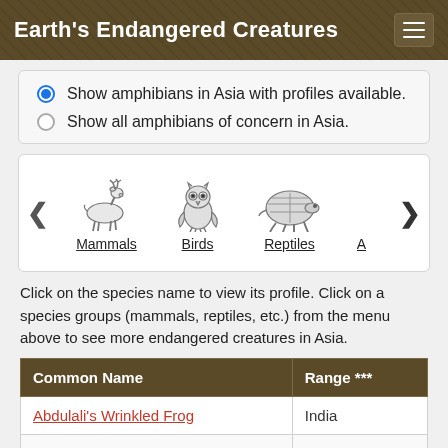Earth's Endangered Creatures
Show amphibians in Asia with profiles available.
Show all amphibians of concern in Asia.
[Figure (illustration): Carousel showing animal category icons: Mammals (deer sketch), Birds (owl sketch), Reptiles (tortoise sketch), and a partially visible fourth category 'A']
Click on the species name to view its profile. Click on a species groups (mammals, reptiles, etc.) from the menu above to see more endangered creatures in Asia.
| Common Name | Range *** |
| --- | --- |
| Abdulali's Wrinkled Frog | India |
|  |  |